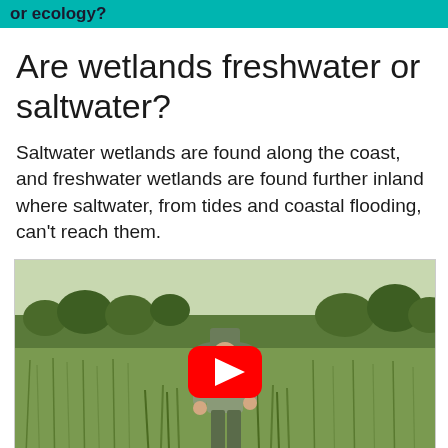or ecology?
Are wetlands freshwater or saltwater?
Saltwater wetlands are found along the coast, and freshwater wetlands are found further inland where saltwater, from tides and coastal flooding, can't reach them.
[Figure (photo): A park ranger in uniform standing in a wetland/grassland area with trees in the background. A YouTube play button overlay is centered on the image.]